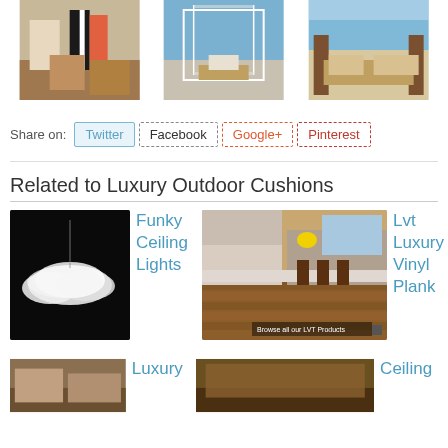[Figure (photo): Three decorative home interior/outdoor images in a grid row — pillows/baskets, outdoor canopy beds by ocean, outdoor furniture patio]
Share on: Twitter  Facebook  Google+  Pinterest
Related to Luxury Outdoor Cushions
[Figure (photo): Funky cloud-shaped ceiling light on dark background]
Funky Ceiling Lights
[Figure (photo): Kitchen/dining room with hardwood LVT floor, text Browse all our LVT Products]
Lvt Luxury Vinyl Plank
[Figure (photo): Partial bottom row — living room image and kitchen image]
Luxury
Ceiling